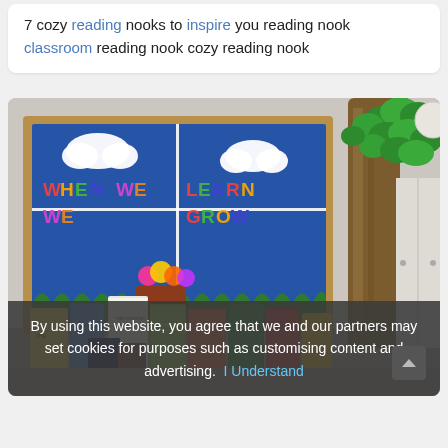7 cozy reading nooks to inspire you reading nook classroom reading nook cozy reading nook
[Figure (photo): Classroom reading nook with a blue bulletin board reading 'WHEN WE LEARN WE GROW' decorated with paper clouds and colorful flowers, a paper tree trunk and green leaf decorations on the right, and children's books displayed in front.]
By using this website, you agree that we and our partners may set cookies for purposes such as customising content and advertising. I Understand